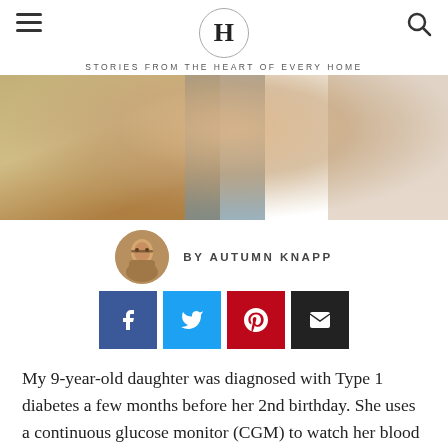H — STORIES FROM THE HEART OF EVERY HOME
[Figure (photo): Close-up blurred photo of a child's hand, showing a continuous glucose monitor or device, with warm wood-toned background on left and lighter blurred area on right]
BY AUTUMN KNAPP
[Figure (infographic): Row of four social sharing buttons: Facebook (blue), Twitter (light blue), Pinterest (red), Email (black)]
My 9-year-old daughter was diagnosed with Type 1 diabetes a few months before her 2nd birthday. She uses a continuous glucose monitor (CGM) to watch her blood glucose levels and a pump that administers insulin.
Before these amazing pieces of medical technology, we were pricking her fingers up to 10 times a day and giving